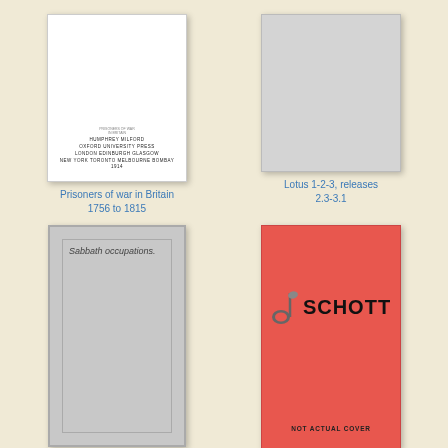[Figure (photo): Book cover: Prisoners of war in Britain 1756 to 1815, white cover with publisher text at bottom (Oxford University Press)]
Prisoners of war in Britain 1756 to 1815
[Figure (photo): Book cover: Lotus 1-2-3, releases 2.3-3.1, plain gray/silver cover]
Lotus 1-2-3, releases 2.3-3.1
[Figure (photo): Book cover: Sabbath occupations. Gray cover with inner rectangle border and title text.]
Sabbath occupations.
[Figure (photo): Book cover: Reportorium Orgelmusik 1150-1998, red/coral Schott publisher cover with musical note logo and NOT ACTUAL COVER text]
Reportorium Orgelmusik 1150-1998